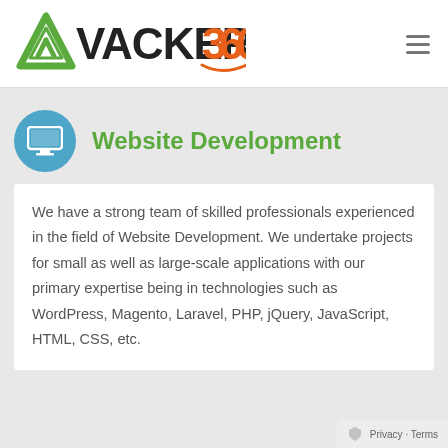[Figure (logo): Vacker360 logo with green triangle icon and orange 360 text]
Website Development
We have a strong team of skilled professionals experienced in the field of Website Development. We undertake projects for small as well as large-scale applications with our primary expertise being in technologies such as WordPress, Magento, Laravel, PHP, jQuery, JavaScript, HTML, CSS, etc.
Privacy · Terms